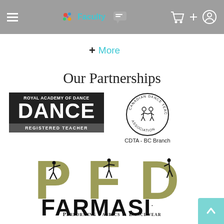[Figure (screenshot): Navigation bar with hamburger menu, Faculty logo with colorful icon, chat bubble icon, shopping cart icon, plus sign and user/settings icon]
+ More
Our Partnerships
[Figure (logo): Royal Academy of Dance - Registered Teacher logo: black rectangle with white text 'ROYAL ACADEMY OF DANCE' in small caps, large bold 'DANCE', and dark bar below reading 'REGISTERED TEACHER']
[Figure (logo): CDTA - BC Branch logo: circular seal with text 'Canadian Dance Teachers Association' around the border and two dancers in the center, with 'CDTA - BC Branch' below]
[Figure (logo): PFD - Performing Fabrics & Dancewear logo: large olive/dark yellow letters P, F, D with silhouettes of ballet dancers incorporated, text 'Performing Fabrics & Dancewear' below]
[Figure (logo): FARMASİ logo in large bold black capital letters with a dot above the I]